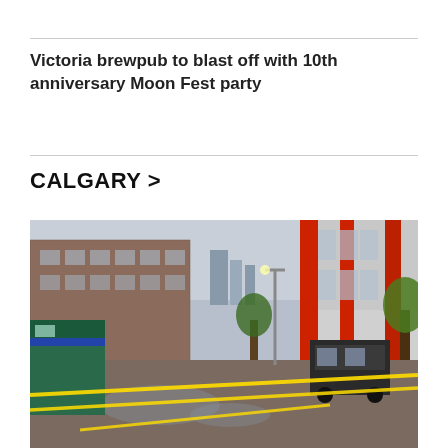Victoria brewpub to blast off with 10th anniversary Moon Fest party
CALGARY >
[Figure (photo): Street scene in Calgary showing police tape (yellow caution/police line tape) cordoning off a wet urban street. An ambulance or emergency vehicle is visible on the left side, a police SUV is in the background, and a modern building with large red pillars is on the right. The street is wet from rain, and there are parked cars and trees visible. City skyline is faintly visible in the background.]